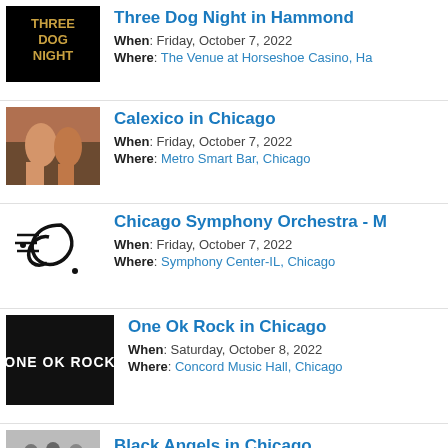Three Dog Night in Hammond
When: Friday, October 7, 2022
Where: The Venue at Horseshoe Casino, Ha
Calexico in Chicago
When: Friday, October 7, 2022
Where: Metro Smart Bar, Chicago
Chicago Symphony Orchestra - M
When: Friday, October 7, 2022
Where: Symphony Center-IL, Chicago
One Ok Rock in Chicago
When: Saturday, October 8, 2022
Where: Concord Music Hall, Chicago
Black Angels in Chicago